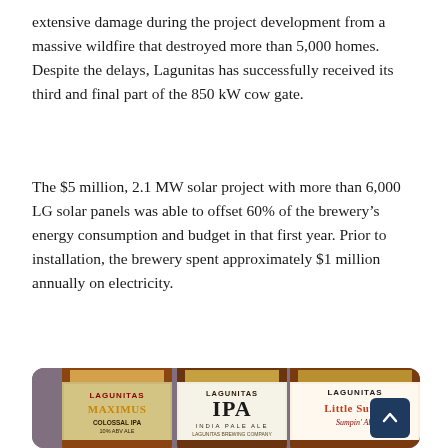extensive damage during the project development from a massive wildfire that destroyed more than 5,000 homes. Despite the delays, Lagunitas has successfully received its third and final part of the 850 kW cow gate.
The $5 million, 2.1 MW solar project with more than 6,000 LG solar panels was able to offset 60% of the brewery's energy consumption and budget in that first year. Prior to installation, the brewery spent approximately $1 million annually on electricity.
[Figure (photo): Photo of three Lagunitas beer bottles showing Lagunitas Maximus Colossal IPA, Lagunitas IPA (India Pale Ale), and Lagunitas Little Sumpin' Sumpin' Ale labels, with a dark teal/navy scroll-to-top button in the bottom-right corner.]